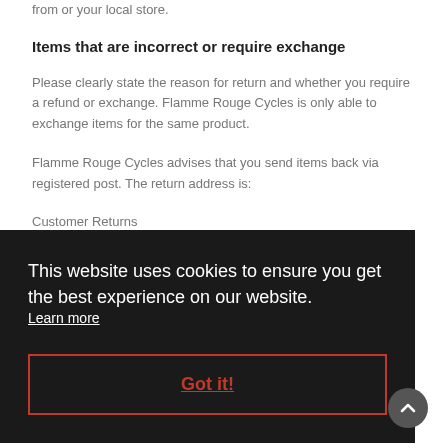from or your local store.
Items that are incorrect or require exchange
Please clearly state the reason for return and whether you require a refund or exchange. Flamme Rouge Cycles is only able to exchange items for the same product.
Flamme Rouge Cycles advises that you send items back via registered post. The return address is:
Customer Returns
This website uses cookies to ensure you get the best experience on our website.
Learn more
Got it!
ective). note: that this does not affect your statutory rights.